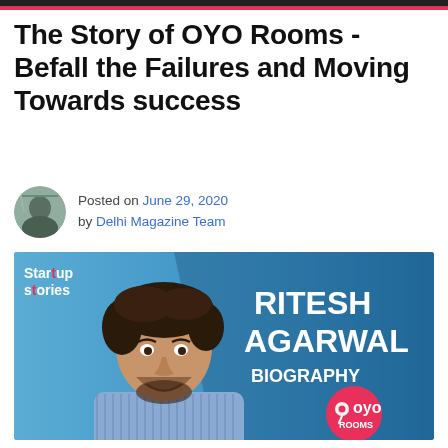The Story of OYO Rooms -Befall the Failures and Moving Towards success
Posted on June 29, 2020 by Delhi Magazine Team
[Figure (photo): Startup Stories banner featuring Ritesh Agarwal Biography with OYO Rooms logo. Shows a young man in a blue striped shirt smiling, against a blue gradient background with large white text reading RITESH AGARWAL BIOGRAPHY and a red OYO Rooms circle logo in the bottom right.]